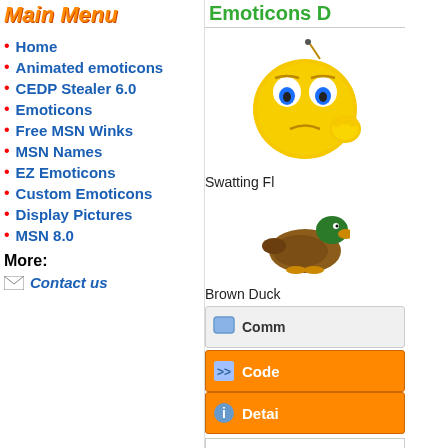Main Menu
Home
Animated emoticons
CEDP Stealer 6.0
Emoticons
Free MSN Winks
MSN Names
EZ Emoticons
Custom Emoticons
Display Pictures
MSN 8.0
More:
Contact us
Emoticons D
[Figure (illustration): Animated yellow smiley face swatting a fly]
Swatting Fl
[Figure (illustration): Brown cartoon duck emoticon]
Brown Duck
Comm
Code
Detai
Write a Comm